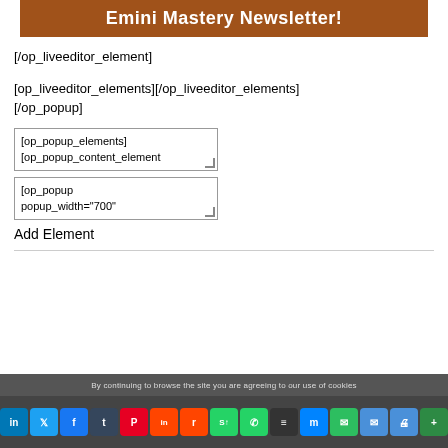Emini Mastery Newsletter!
[/op_liveeditor_element]
[op_liveeditor_elements][/op_liveeditor_elements]
[/op_popup]
[op_popup_elements]
[op_popup_content_element
[op_popup
popup_width="700"
Add Element
By continuing to browse the site you are agreeing to our use of cookies